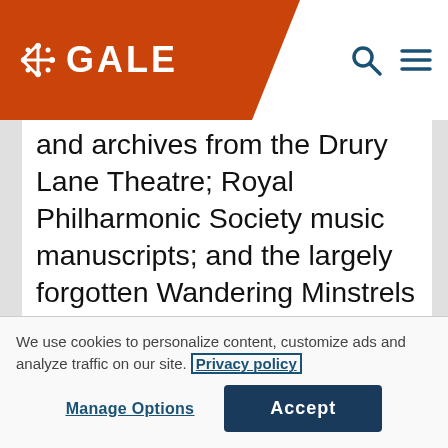GALE
and archives from the Drury Lane Theatre; Royal Philharmonic Society music manuscripts; and the largely forgotten Wandering Minstrels archive, which opens a rare glimpse into the decades of Gilbert and Sullivan. The archive enables scholars to explore primary sources covering such topics as Victorian popular
We use cookies to personalize content, customize ads and analyze traffic on our site. Privacy policy
Manage Options
Accept